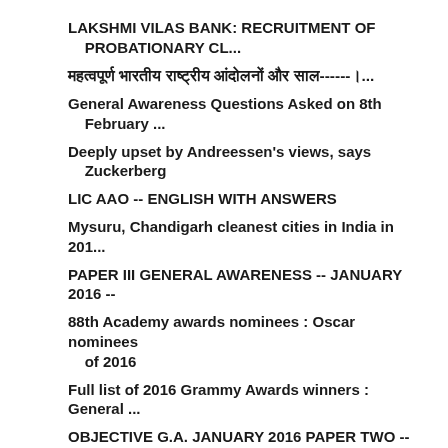LAKSHMI VILAS BANK: RECRUITMENT OF PROBATIONARY CL...
महत्वपूर्ण भारतीय राष्ट्रीय आंदोलनों और साल------।...
General Awareness Questions Asked on 8th February ...
Deeply upset by Andreessen's views, says Zuckerberg
LIC AAO -- ENGLISH WITH ANSWERS
Mysuru, Chandigarh cleanest cities in India in 201...
PAPER III GENERAL AWARENESS -- JANUARY 2016 --
88th Academy awards nominees : Oscar nominees of 2016
Full list of 2016 Grammy Awards winners : General ...
OBJECTIVE G.A. JANUARY 2016 PAPER TWO -- 50 QNS W...
UN agency proposes greenhouse gas emissions rules ...
► January (134)